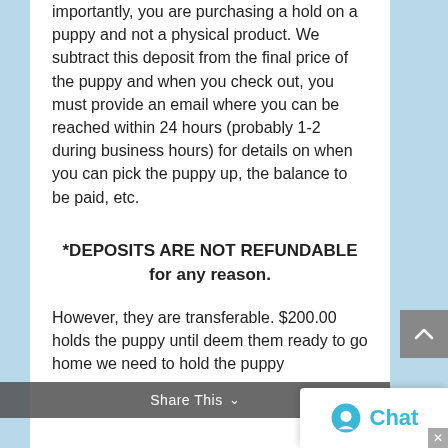importantly, you are purchasing a hold on a puppy and not a physical product. We subtract this deposit from the final price of the puppy and when you check out, you must provide an email where you can be reached within 24 hours (probably 1-2 during business hours) for details on when you can pick the puppy up, the balance to be paid, etc.
*DEPOSITS ARE NOT REFUNDABLE for any reason.
However, they are transferable. $200.00 holds the puppy until deem them ready to go home we need to hold the puppy